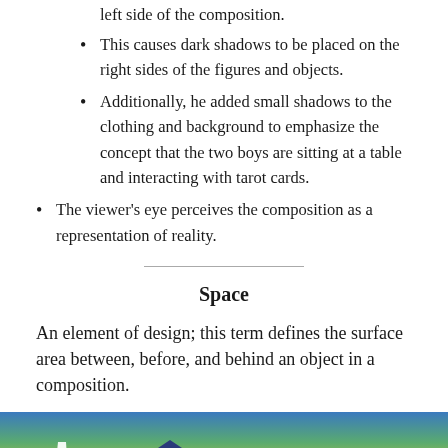Wade accomplished this by setting the light source at the left side of the composition.
This causes dark shadows to be placed on the right sides of the figures and objects.
Additionally, he added small shadows to the clothing and background to emphasize the concept that the two boys are sitting at a table and interacting with tarot cards.
The viewer's eye perceives the composition as a representation of reality.
Space
An element of design; this term defines the surface area between, before, and behind an object in a composition.
[Figure (photo): A painting showing a landscape with blue mountains, a sky with gradient colors from blue to green to yellow, and white elongated shapes (possibly skis or crosses) in the foreground.]